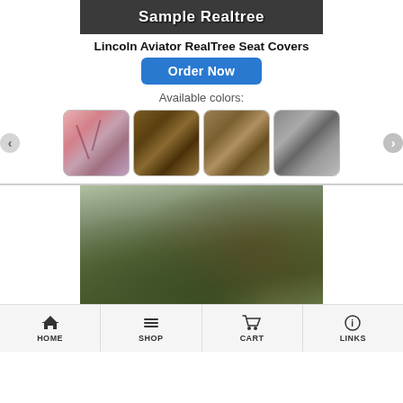[Figure (screenshot): Banner image showing 'Sample Realtree' text on dark camo background]
Lincoln Aviator RealTree Seat Covers
[Figure (other): Blue 'Order Now' button]
Available colors:
[Figure (other): Four camo color swatches: pink camo, brown camo, tan camo, grey camo with navigation arrows]
[Figure (photo): Photo of RealTree camo seat covers installed in a vehicle, showing front seats covered in green/brown camo pattern]
HOME  SHOP  CART  LINKS